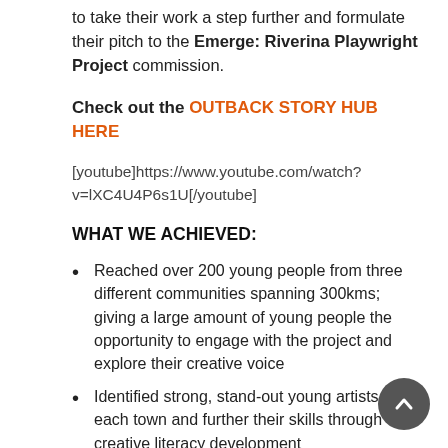to take their work a step further and formulate their pitch to the Emerge: Riverina Playwright Project commission.
Check out the OUTBACK STORY HUB HERE
[youtube]https://www.youtube.com/watch?v=lXC4U4P6s1U[/youtube]
WHAT WE ACHIEVED:
Reached over 200 young people from three different communities spanning 300kms; giving a large amount of young people the opportunity to engage with the project and explore their creative voice
Identified strong, stand-out young artists from each town and further their skills through creative literacy development